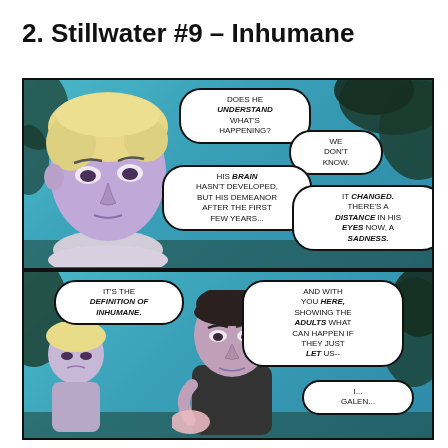2. Stillwater #9 – Inhumane
[Figure (illustration): Two comic book panels from Stillwater #9. Top panel: A young person with light hair and a purple-tinted complexion in a white t-shirt. Speech bubbles read: 'DOES HE UNDERSTAND WHAT'S HAPPENING?', 'WE DON'T KNOW.', 'HIS BRAIN HASN'T DEVELOPED, BUT HIS DEMEANOR AFTER THE FIRST FEW YEARS...', 'IT CHANGED. THERE'S A DISTANCE IN HIS EYES NOW, A SADNESS.' Bottom panel: Two figures, one younger with light hair and one older in a black shirt. Speech bubbles read: 'IT'S THE DEFINITION OF INHUMANE.', 'AND WITH YOU HERE, SHOWING THE ADULTS WHAT CAN HAPPEN IF THEY JUST LET US--', 'I... GALEN...']